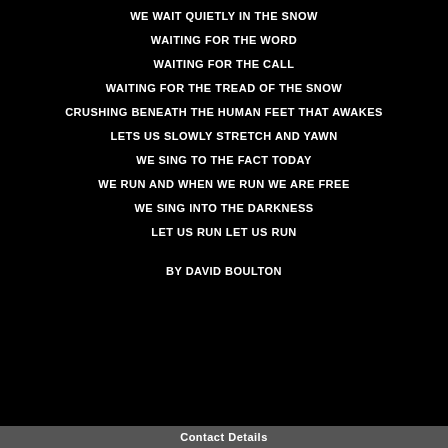WE WAIT QUIETLY IN THE SNOW
WAITING FOR THE WORD
WAITING FOR THE CALL
WAITING FOR THE TREAD OF THE SNOW
CRUSHING BENEATH THE HUMAN FEET THAT AWAKES
LETS US SLOWLY STRETCH AND YAWN
WE SING TO THE FACT TODAY
WE RUN AND WHEN WE RUN WE ARE FREE
WE SING INTO THE DARKNESS
LET US RUN LET US RUN
BY DAVID BOULTON
Contact Details